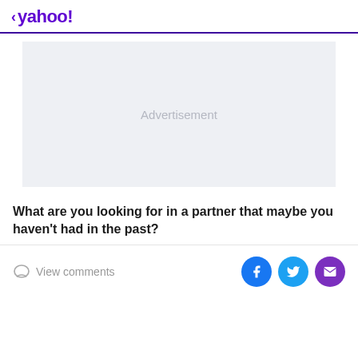< yahoo!
[Figure (other): Advertisement placeholder box with light gray background and 'Advertisement' label centered]
What are you looking for in a partner that maybe you haven't had in the past?
View comments